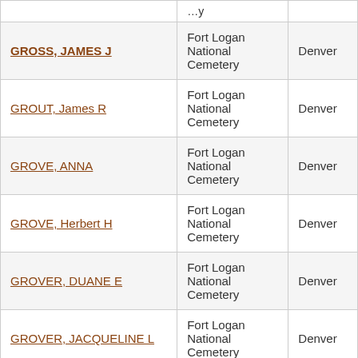| Name | Cemetery | City |
| --- | --- | --- |
| GROSS, JAMES J | Fort Logan National Cemetery | Denver |
| GROUT, James R | Fort Logan National Cemetery | Denver |
| GROVE, ANNA | Fort Logan National Cemetery | Denver |
| GROVE, Herbert H | Fort Logan National Cemetery | Denver |
| GROVER, DUANE E | Fort Logan National Cemetery | Denver |
| GROVER, JACQUELINE L | Fort Logan National Cemetery | Denver |
| GROVES, MARK A | Fort Logan National Cemetery | Denver |
| GRUBER, GEORGE J | Fort Logan National Cemetery | Denver |
| GRUDA, ANTHONY | Fort Logan National Cemetery | Denver |